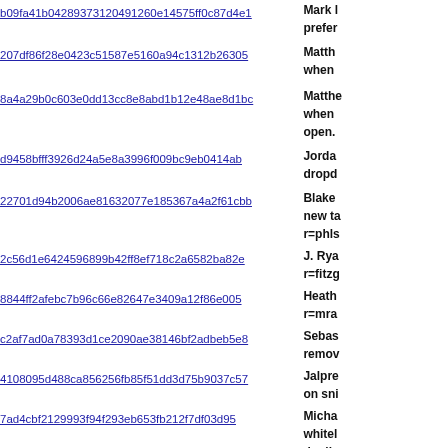b09fa41b04289373120491260e14575ff0c87d4e1 | Mark l... prefer...
207df86f28e0423c51587e5160a94c1312b26305 | Matthew... when...
8a4a29b0c603e0dd13cc8e8abd1b12e48ae8d1bc | Matthe... when... open.
d9458bfff3926d24a5e8a3996f009bc9eb0414ab | Jorda... dropd...
22701d94b2006ae81632077e185367a4a2f61cbb | Blake... new ta... r=phls...
2c56d1e6424596899b42ff8ef718c2a6582ba82e | J. Rya... r=fitzg...
8844ff2afebc7b96c66e82647e3409a12f86e005 | Heath... r=mra...
c2af7ad0a78393d1ce2090ae38146bf2adbeb5e8 | Sebas... remov...
4108095d488ca856256fb85f51dd3d75b9037c57 | Jalpre... on sni...
7ad4cbf2129993f94f293eb653fb212f7df03d95 | Micha... whitel... duplic...
38b13fa63bcd682eb462e1444b1b70ed97ea39c2 | Sami ... depre...
14e17056fc813fb70ab14434592a83802d164aa2 | Tim N... conte...
10bafc4817e3d4e2589b1a1f902894b0e3e959c8 | Shubh... width...